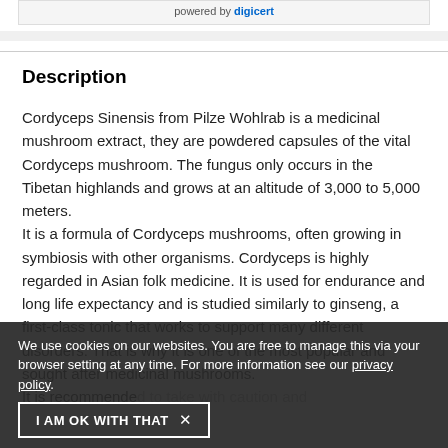[Figure (logo): DigiCert SSL seal logo with 'powered by digicert' text]
Description
Cordyceps Sinensis from Pilze Wohlrab is a medicinal mushroom extract, they are powdered capsules of the vital Cordyceps mushroom. The fungus only occurs in the Tibetan highlands and grows at an altitude of 3,000 to 5,000 meters.
It is a formula of Cordyceps mushrooms, often growing in symbiosis with other organisms. Cordyceps is highly regarded in Asian folk medicine. It is used for endurance and long life expectancy and is studied similarly to ginseng, a first-class tonic that works to support many different disorders. That is why it is one of the most popular and sought after medicinal mushrooms.
It is recommended to take with caution and catering...
We use cookies on our websites. You are free to manage this via your browser setting at any time. For more information see our privacy policy.